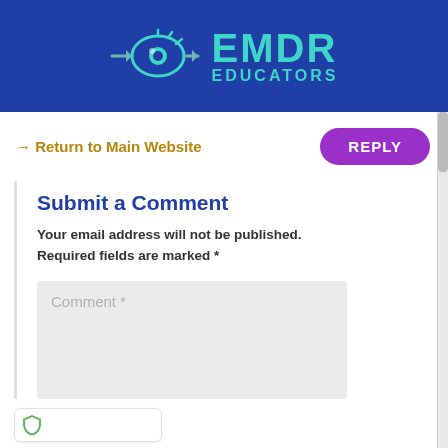[Figure (logo): EMDR Educators logo with teal eye icon and teal text on blue background]
→ Return to Main Website
REPLY
Submit a Comment
Your email address will not be published. Required fields are marked *
Comment *